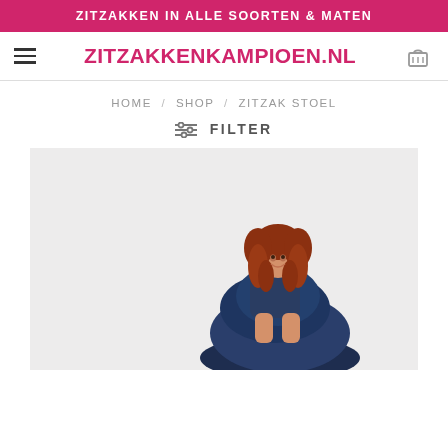ZITZAKKEN IN ALLE SOORTEN & MATEN
ZITZAKKENKAMPIOEN.NL
HOME / SHOP / ZITZAK STOEL
FILTER
[Figure (photo): A girl with red curly hair sitting on a navy blue bean bag chair, photographed against a light grey background.]